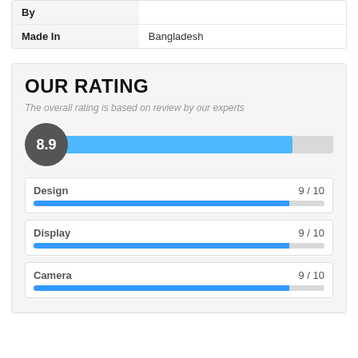| By |  |
| --- | --- |
| Made In | Bangladesh |
OUR RATING
The overall rating is based on review by our experts
[Figure (bar-chart): Overall Rating]
[Figure (bar-chart): Design]
[Figure (bar-chart): Display]
[Figure (bar-chart): Camera]